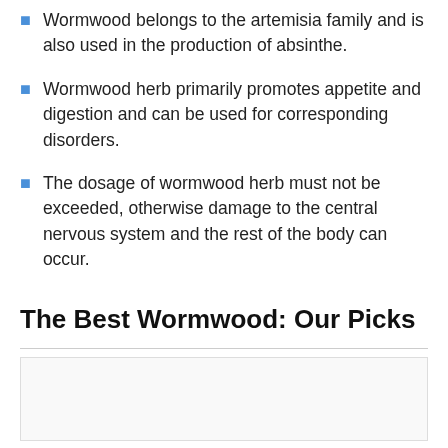Wormwood belongs to the artemisia family and is also used in the production of absinthe.
Wormwood herb primarily promotes appetite and digestion and can be used for corresponding disorders.
The dosage of wormwood herb must not be exceeded, otherwise damage to the central nervous system and the rest of the body can occur.
The Best Wormwood: Our Picks
[Figure (other): Empty image placeholder box for wormwood product picks]